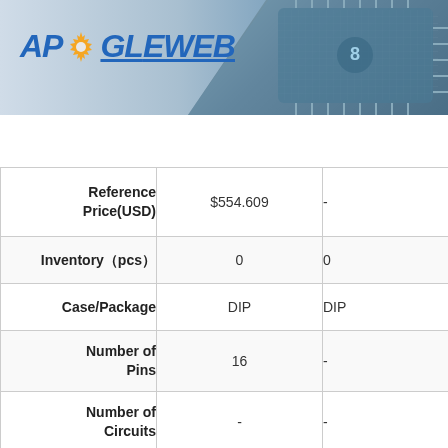[Figure (logo): ApoGleWeb logo with gear icon on a light blue/grey header with circuit board chip image on the right]
[Figure (screenshot): Navigation bar with hamburger menu, search box, and search button]
|  | Column 1 | Column 2 |
| --- | --- | --- |
| Reference Price(USD) | $554.609 | - |
| Inventory（pcs） | 0 | 0 |
| Case/Package | DIP | DIP |
| Number of Pins | 16 | - |
| Number of Circuits | - | - |
| Operating Voltage | - | - |
| ECCN Code | 3A001.a.1.c | - |
| Country ... |  |  |